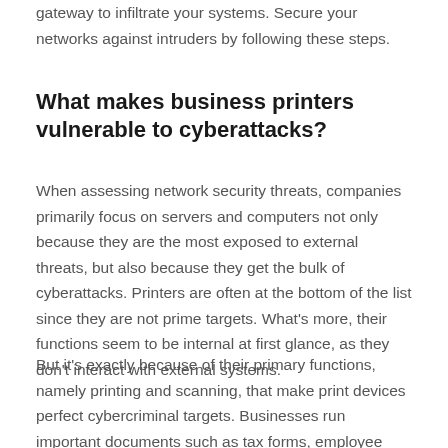gateway to infiltrate your systems. Secure your networks against intruders by following these steps.
What makes business printers vulnerable to cyberattacks?
When assessing network security threats, companies primarily focus on servers and computers not only because they are the most exposed to external threats, but also because they get the bulk of cyberattacks. Printers are often at the bottom of the list since they are not prime targets. What's more, their functions seem to be internal at first glance, as they don't interact with external systems.
But it's exactly because of their primary functions, namely printing and scanning, that make print devices perfect cybercriminal targets. Businesses run important documents such as tax forms, employee information, medical records, and financial statements through print